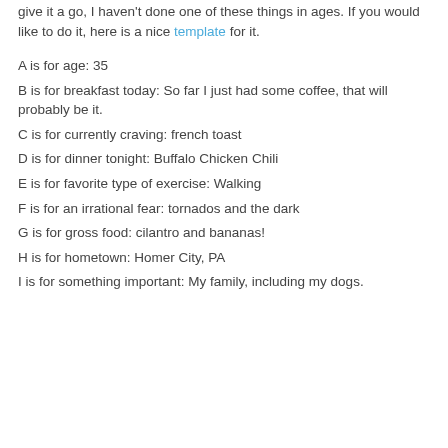give it a go, I haven't done one of these things in ages. If you would like to do it, here is a nice template for it.
A is for age: 35
B is for breakfast today: So far I just had some coffee, that will probably be it.
C is for currently craving: french toast
D is for dinner tonight: Buffalo Chicken Chili
E is for favorite type of exercise: Walking
F is for an irrational fear: tornados and the dark
G is for gross food: cilantro and bananas!
H is for hometown: Homer City, PA
I is for something important: My family, including my dogs.